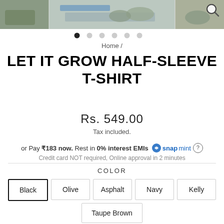[Figure (photo): Top banner with product images showing shoes and a blue mat background, with a search icon in the top right]
● ● ● ● ● ●
Home /
LET IT GROW HALF-SLEEVE T-SHIRT
Rs. 549.00
Tax included.
or Pay ₹183 now. Rest in 0% interest EMIs [snapmint] ?
Credit card NOT required, Online approval in 2 minutes
COLOR
Black | Olive | Asphalt | Navy | Kelly
Taupe Brown